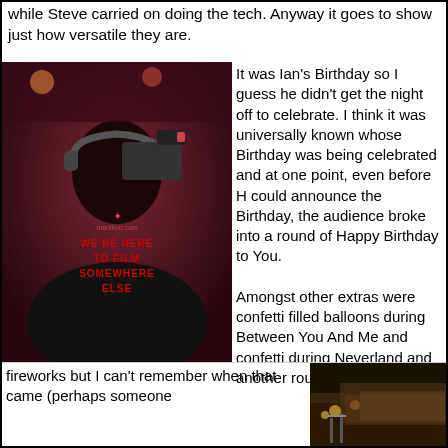while Steve carried on doing the tech. Anyway it goes to show just how versatile they are.
[Figure (photo): Person seen from behind wearing a black jacket with text 'WE'RE HERE TO FILM SOMEWHERE ELSE' and headphones, operating a camera at a concert]
It was Ian's Birthday so I guess he didn't get the night off to celebrate. I think it was universally known whose Birthday was being celebrated and at one point, even before H could announce the Birthday, the audience broke into a round of Happy Birthday to You.

Amongst other extras were confetti filled balloons during Between You And Me and confetti during Neverland and another round of
fireworks but I can't remember when that came (perhaps someone
[Figure (photo): Concert venue interior showing a large crowd of audience members in stadium seating, dimly lit stage area visible]